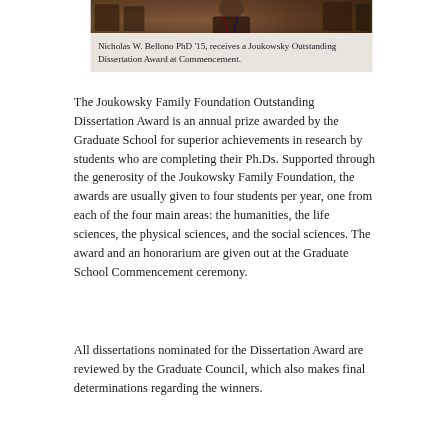[Figure (photo): Photograph of Nicholas W. Bellono in academic regalia at Commencement ceremony, receiving an award. Dark background with chairs visible.]
Nicholas W. Bellono PhD '15, receives a Joukowsky Outstanding Dissertation Award at Commencement.
The Joukowsky Family Foundation Outstanding Dissertation Award is an annual prize awarded by the Graduate School for superior achievements in research by students who are completing their Ph.Ds. Supported through the generosity of the Joukowsky Family Foundation, the awards are usually given to four students per year, one from each of the four main areas: the humanities, the life sciences, the physical sciences, and the social sciences. The award and an honorarium are given out at the Graduate School Commencement ceremony.
All dissertations nominated for the Dissertation Award are reviewed by the Graduate Council, which also makes final determinations regarding the winners.